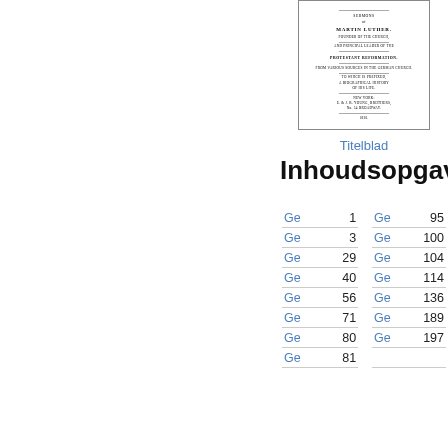[Figure (illustration): Thumbnail image of a book title page for 'Sermons of Martin Luther', showing small printed text typical of a historical book cover, displayed within a bordered rectangle.]
Titelblad
Inhoudsopgave
| Ge |  | Ge |  |
| --- | --- | --- | --- |
| Ge | 1 | Ge | 95 |
| Ge | 3 | Ge | 100 |
| Ge | 29 | Ge | 104 |
| Ge | 40 | Ge | 114 |
| Ge | 56 | Ge | 136 |
| Ge | 71 | Ge | 189 |
| Ge | 80 | Ge | 197 |
| Ge | 81 |  |  |